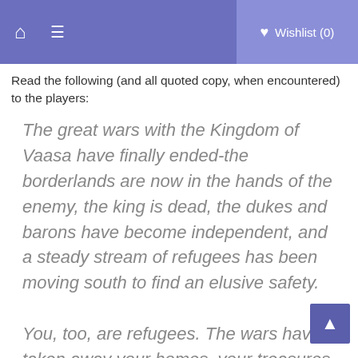🏠 ☰   ♥ Wishlist (0)
Read the following (and all quoted copy, when encountered) to the players:
The great wars with the Kingdom of Vaasa have finally ended-the borderlands are now in the hands of the enemy, the king is dead, the dukes and barons have become independent, and a steady stream of refugees has been moving south to find an elusive safety.
You, too, are refugees. The wars have taken away your homes, your treasures,